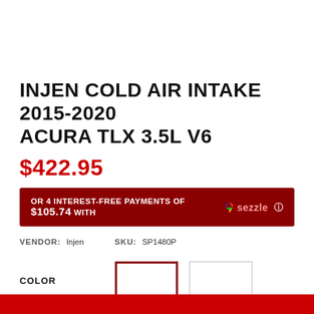INJEN COLD AIR INTAKE 2015-2020 ACURA TLX 3.5L V6
$422.95
OR 4 INTEREST-FREE PAYMENTS OF $105.74 WITH sezzle
VENDOR: Injen   SKU: SP1480P
COLOR
QUANTITY  -  1  +